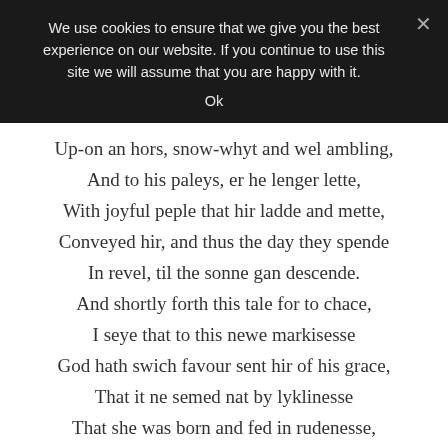We use cookies to ensure that we give you the best experience on our website. If you continue to use this site we will assume that you are happy with it.
Ok
Up-on an hors, snow-whyt and wel ambling,
And to his paleys, er he lenger lette,
With joyful peple that hir ladde and mette,
Conveyed hir, and thus the day they spende
In revel, til the sonne gan descende.
And shortly forth this tale for to chace,
I seye that to this newe markisesse
God hath swich favour sent hir of his grace,
That it ne semed nat by lyklinesse
That she was born and fed in rudenesse,